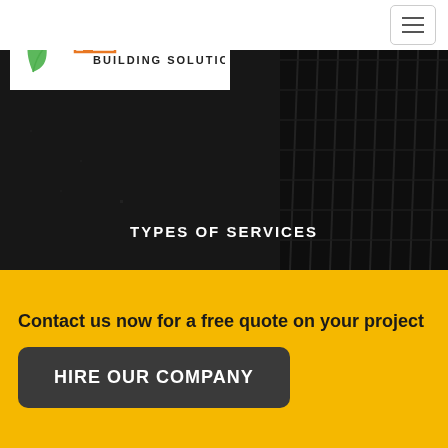[Figure (logo): Airtight Building Solutions Ltd logo with green leaf and orange house icon, orange AIRTIGHT text, dark BUILDING SOLUTIONS LTD text]
[Figure (photo): Dark background hero image showing roof tiles or construction material in shadow]
TYPES OF SERVICES
Contact us now for a free quote on your project
HIRE OUR COMPANY